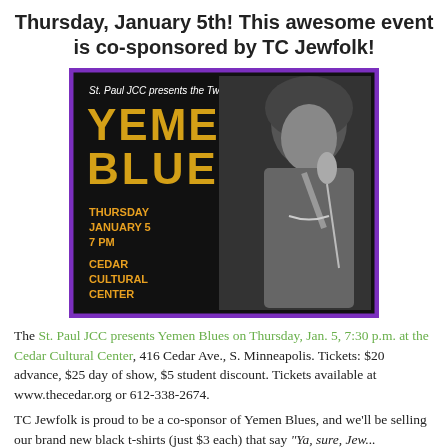Thursday, January 5th! This awesome event is co-sponsored by TC Jewfolk!
[Figure (photo): Event poster for Yemen Blues at Cedar Cultural Center. Black background with purple border. Text: 'St. Paul JCC presents the Twin Cities debut of YEMEN BLUES. THURSDAY JANUARY 5 7 PM CEDAR CULTURAL CENTER'. Right side shows black and white photo of a male singer at a microphone with afro hair.]
The St. Paul JCC presents Yemen Blues on Thursday, Jan. 5, 7:30 p.m. at the Cedar Cultural Center, 416 Cedar Ave., S. Minneapolis. Tickets: $20 advance, $25 day of show, $5 student discount. Tickets available at www.thecedar.org or 612-338-2674.
TC Jewfolk is proud to be a co-sponsor of Yemen Blues, and we'll be selling our brand new black t-shirts (just $3 each) that say "Ya, sure, Jew..."